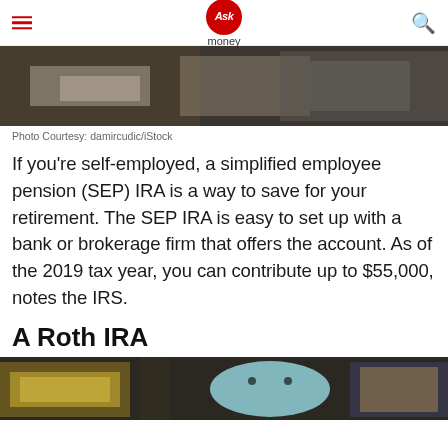Ask money
[Figure (photo): Close-up photo of hands writing on paper with a calculator on a desk]
Photo Courtesy: damircudic/iStock
If you’re self-employed, a simplified employee pension (SEP) IRA is a way to save for your retirement. The SEP IRA is easy to set up with a bank or brokerage firm that offers the account. As of the 2019 tax year, you can contribute up to $55,000, notes the IRS.
A Roth IRA
[Figure (photo): Photo of stacks of US dollar bills, a blue piggy bank, a notebook, and office supplies on a dark desk]